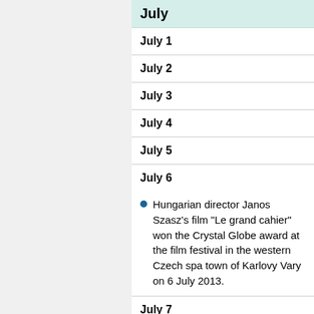July
July 1
July 2
July 3
July 4
July 5
July 6
Hungarian director Janos Szasz's film "Le grand cahier" won the Crystal Globe award at the film festival in the western Czech spa town of Karlovy Vary on 6 July 2013.
July 7
July 8